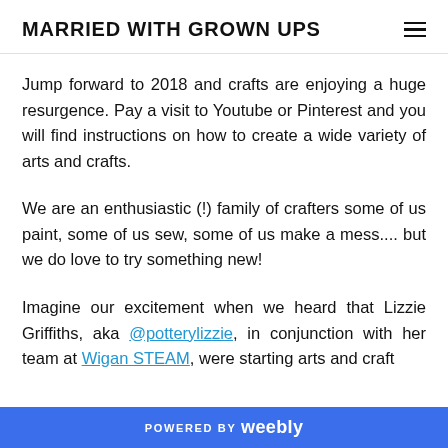MARRIED WITH GROWN UPS
Jump forward to 2018 and crafts are enjoying a huge resurgence. Pay a visit to Youtube or Pinterest and you will find instructions on how to create a wide variety of arts and crafts.
We are an enthusiastic (!) family of crafters some of us paint, some of us sew, some of us make a mess.... but we do love to try something new!
Imagine our excitement when we heard that Lizzie Griffiths, aka @potterylizzie, in conjunction with her team at Wigan STEAM, were starting arts and craft
POWERED BY weebly